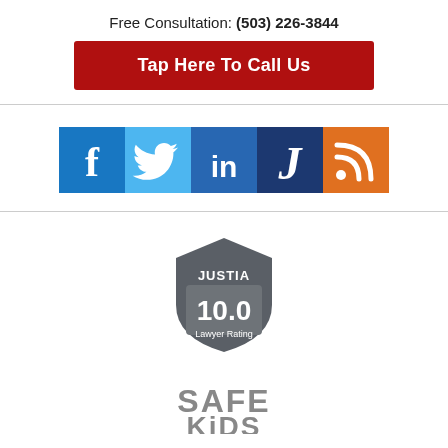Free Consultation: (503) 226-3844
Tap Here To Call Us
[Figure (infographic): Row of social media icons: Facebook (blue), Twitter (light blue), LinkedIn (dark blue), Justia (dark blue/navy), RSS feed (orange)]
[Figure (logo): Justia 10.0 Lawyer Rating badge, shield shape, dark gray]
[Figure (logo): Safe Kids logo, gray text, partially visible]